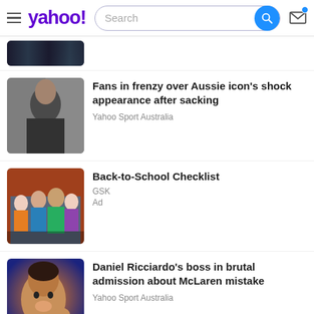yahoo! Search
[Figure (screenshot): Partial thumbnail of a dark image at top, partially cropped]
Fans in frenzy over Aussie icon's shock appearance after sacking
Yahoo Sport Australia
Back-to-School Checklist
GSK
Ad
Daniel Ricciardo's boss in brutal admission about McLaren mistake
Yahoo Sport Australia
[Figure (photo): Partial bottom thumbnail, partially cropped]